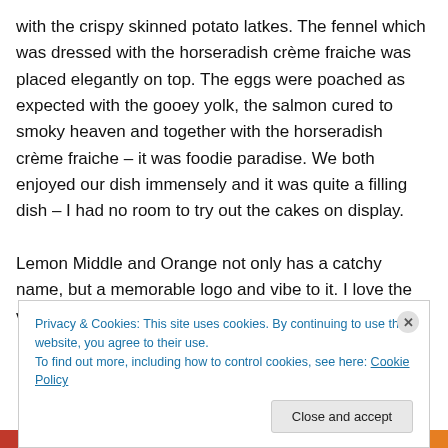with the crispy skinned potato latkes. The fennel which was dressed with the horseradish crème fraiche was placed elegantly on top. The eggs were poached as expected with the gooey yolk, the salmon cured to smoky heaven and together with the horseradish crème fraiche – it was foodie paradise. We both enjoyed our dish immensely and it was quite a filling dish – I had no room to try out the cakes on display.

Lemon Middle and Orange not only has a catchy name, but a memorable logo and vibe to it. I love the variety of
Privacy & Cookies: This site uses cookies. By continuing to use this website, you agree to their use.
To find out more, including how to control cookies, see here: Cookie Policy
Close and accept